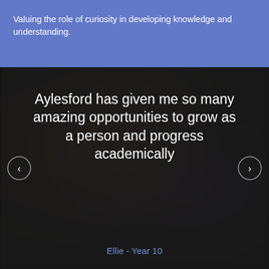Valuing the role of curiosity in developing knowledge and understanding.
[Figure (photo): Dark background with blurred crowd/students photo overlay. Contains a large testimonial quote in white text: 'Aylesford has given me so many amazing opportunities to grow as a person and progress academically'. Navigation arrows (left and right) are overlaid. Attribution text in blue reads 'Ellie - Year 10'.]